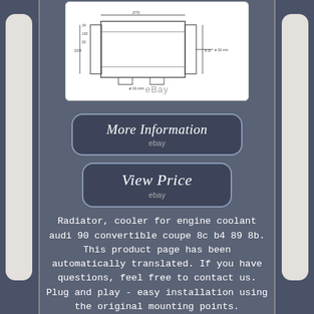[Figure (engineering-diagram): Technical/engineering schematic drawing of a radiator cooler part with dimension annotations, shown on a white background with eBay watermark]
[Figure (screenshot): Button reading 'More Information' with 'ebay' text below, on dark rounded rectangle with border]
[Figure (screenshot): Button reading 'View Price' with 'ebay' text below, on dark rounded rectangle with border]
Radiator, cooler for engine coolant audi 90 convertible coupe 8c b4 89 8b. This product page has been automatically translated. If you have questions, feel free to contact us. Plug and play - easy installation using the original mounting points.